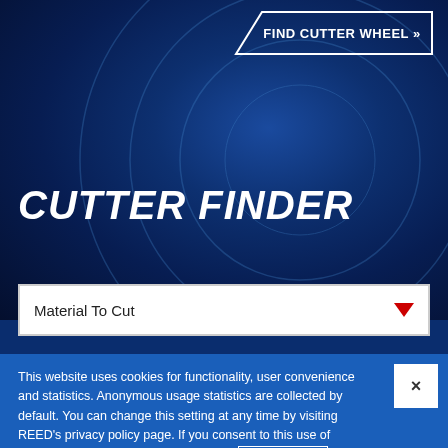[Figure (screenshot): Dark blue hero background with circular design pattern and FIND CUTTER WHEEL button in top right]
FIND CUTTER WHEEL »
CUTTER FINDER
[Figure (screenshot): Material To Cut dropdown selector with red triangle arrow]
This website uses cookies for functionality, user convenience and statistics. Anonymous usage statistics are collected by default. You can change this setting at any time by visiting REED's privacy policy page. If you consent to this use of cookies, please click "Accept Cookies." Cookie Policy
Cookies Settings
Accept All Cookies